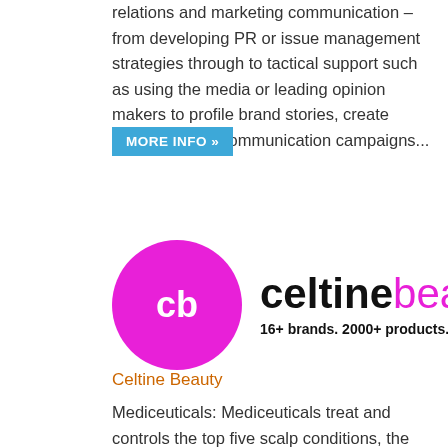relations and marketing communication – from developing PR or issue management strategies through to tactical support such as using the media or leading opinion makers to profile brand stories, create brand building communication campaigns...
MORE INFO »
[Figure (logo): Celtine Beauty logo: magenta circle with 'cb' in white, followed by 'celtine' in black bold and 'beauty' in magenta, with tagline '16+ brands. 2000+ products. one supplier']
Celtine Beauty
Mediceuticals: Mediceuticals treat and controls the top five scalp conditions, the four most common damaged hair types and the three most common of hair loss conditions...